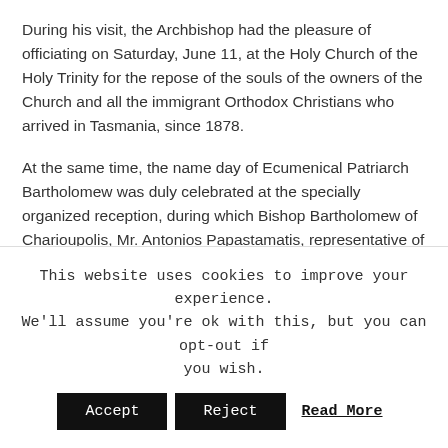During his visit, the Archbishop had the pleasure of officiating on Saturday, June 11, at the Holy Church of the Holy Trinity for the repose of the souls of the owners of the Church and all the immigrant Orthodox Christians who arrived in Tasmania, since 1878.
At the same time, the name day of Ecumenical Patriarch Bartholomew was duly celebrated at the specially organized reception, during which Bishop Bartholomew of Charioupolis, Mr. Antonios Papastamatis, representative of the young people of Tasmania, and finally Archbishop Makarios spoke. All the speakers referred to the spiritual character of Patriarch Bartholomew and praised his
This website uses cookies to improve your experience. We'll assume you're ok with this, but you can opt-out if you wish. Accept Reject Read More